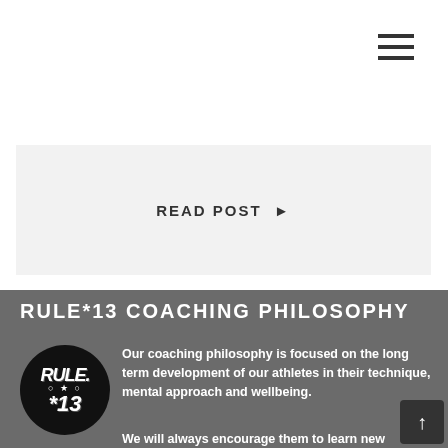[Figure (other): Hamburger menu icon with three horizontal lines in top right corner]
READ POST ▶
RULE*13 COACHING PHILOSOPHY
[Figure (logo): Round black circle logo with RULE *13 text in white stylized font]
Our coaching philosophy is focused on the long term development of our athletes in their technique, mental approach and wellbeing.
We will always encourage them to learn new